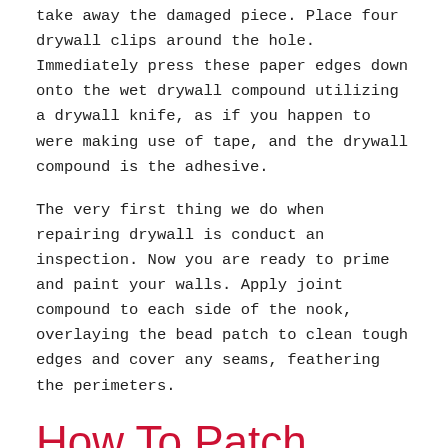take away the damaged piece. Place four drywall clips around the hole. Immediately press these paper edges down onto the wet drywall compound utilizing a drywall knife, as if you happen to were making use of tape, and the drywall compound is the adhesive.
The very first thing we do when repairing drywall is conduct an inspection. Now you are ready to prime and paint your walls. Apply joint compound to each side of the nook, overlaying the bead patch to clean tough edges and cover any seams, feathering the perimeters.
How To Patch Holes In Drywall
Drywall repair entails numerous steps. It will go away